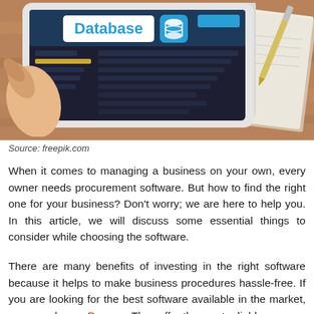[Figure (photo): Photo of a hand holding a tablet showing a database interface, with a notebook and pen in the background on a wooden desk surface. The tablet screen displays 'Database' text prominently in blue.]
Source: freepik.com
When it comes to managing a business on your own, every owner needs procurement software. But how to find the right one for your business? Don't worry; we are here to help you. In this article, we will discuss some essential things to consider while choosing the software.
There are many benefits of investing in the right software because it helps to make business procedures hassle-free. If you are looking for the best software available in the market, you can choose Precoro. They offer the most reliable